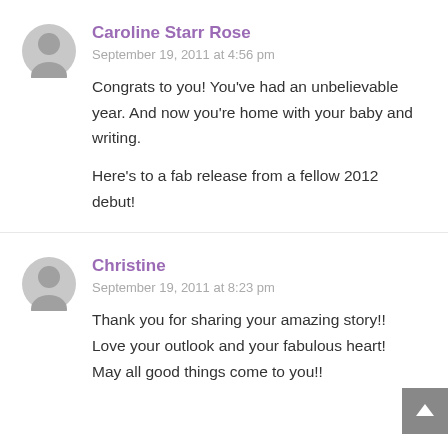Caroline Starr Rose
September 19, 2011 at 4:56 pm
Congrats to you! You've had an unbelievable year. And now you're home with your baby and writing.

Here's to a fab release from a fellow 2012 debut!
Christine
September 19, 2011 at 8:23 pm
Thank you for sharing your amazing story!! Love your outlook and your fabulous heart! May all good things come to you!!